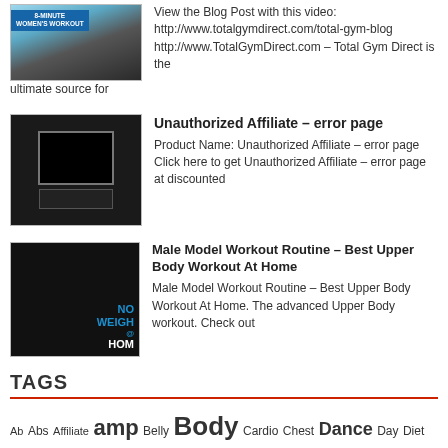[Figure (photo): Thumbnail image of 8-minute women's workout video]
View the Blog Post with this video: http://www.totalgymdirect.com/total-gym-blog http://www.TotalGymDirect.com – Total Gym Direct is the ultimate source for
[Figure (photo): Thumbnail image for Unauthorized Affiliate error page product]
Unauthorized Affiliate – error page
Product Name: Unauthorized Affiliate – error page Click here to get Unauthorized Affiliate – error page at discounted
[Figure (photo): Thumbnail image for Male Model Workout Routine No Weights at Home]
Male Model Workout Routine – Best Upper Body Workout At Home
Male Model Workout Routine – Best Upper Body Workout At Home. The advanced Upper Body workout. Check out
TAGS
Ab Abs Affiliate amp Belly Body Cardio Chest Dance Day Diet Easy error Exercise Exercises FAST Fat FEMALE Fitness FULL Gym Health Healthy Home Lose Loss Men Men39s MIN Routine